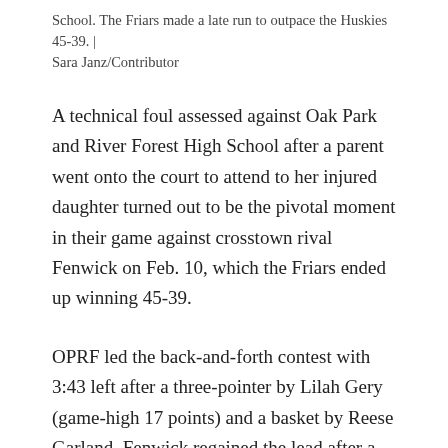School. The Friars made a late run to outpace the Huskies 45-39. | Sara Janz/Contributor
A technical foul assessed against Oak Park and River Forest High School after a parent went onto the court to attend to her injured daughter turned out to be the pivotal moment in their game against crosstown rival Fenwick on Feb. 10, which the Friars ended up winning 45-39.
OPRF led the back-and-forth contest with 3:43 left after a three-pointer by Lilah Gery (game-high 17 points) and a basket by Reese Garland. Fenwick regained the lead after a basket by Audrey Hinrichs (team-high 15 points), but a scramble for a loose ball with 2:08 remaining resulted in the game's biggest and